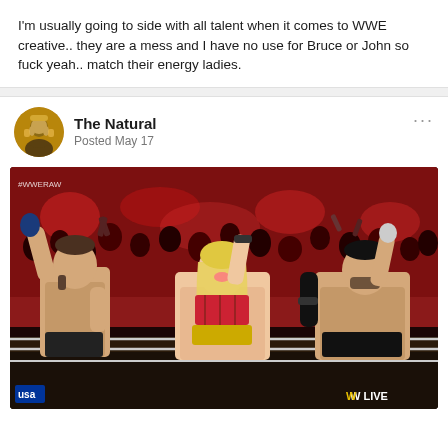I'm usually going to side with all talent when it comes to WWE creative.. they are a mess and I have no use for Bruce or John so fuck yeah.. match their energy ladies.
The Natural
Posted May 17
[Figure (photo): WWE RAW photo showing three wrestlers in a ring celebrating with arms raised — two male wrestlers and one female wrestler with blonde hair, crowd in background lit in red, USA Network logo and WWE LIVE text visible]